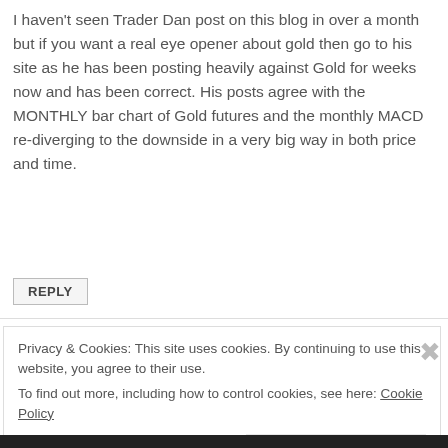I haven't seen Trader Dan post on this blog in over a month but if you want a real eye opener about gold then go to his site as he has been posting heavily against Gold for weeks now and has been correct. His posts agree with the MONTHLY bar chart of Gold futures and the monthly MACD re-diverging to the downside in a very big way in both price and time.
REPLY
Privacy & Cookies: This site uses cookies. By continuing to use this website, you agree to their use.
To find out more, including how to control cookies, see here: Cookie Policy
Close and accept